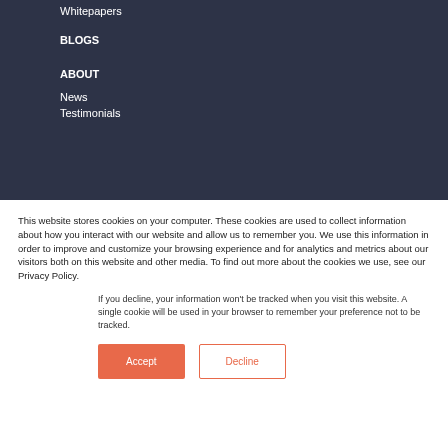Whitepapers
BLOGS
ABOUT
News
Testimonials
This website stores cookies on your computer. These cookies are used to collect information about how you interact with our website and allow us to remember you. We use this information in order to improve and customize your browsing experience and for analytics and metrics about our visitors both on this website and other media. To find out more about the cookies we use, see our Privacy Policy.
If you decline, your information won't be tracked when you visit this website. A single cookie will be used in your browser to remember your preference not to be tracked.
Accept  Decline